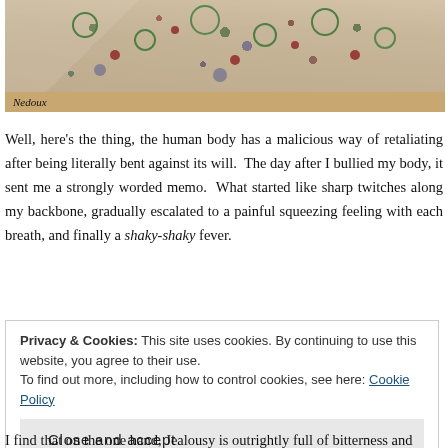[Figure (photo): A person wearing a colorful floral/patterned dress or blouse, with a watermark 'Nedoux' in the lower left corner of the photo.]
Well, here's the thing, the human body has a malicious way of retaliating after being literally bent against its will.  The day after I bullied my body, it sent me a strongly worded memo.  What started like sharp twitches along my backbone, gradually escalated to a painful squeezing feeling with each breath, and finally a shaky-shaky fever.
Privacy & Cookies: This site uses cookies. By continuing to use this website, you agree to their use.
To find out more, including how to control cookies, see here: Cookie Policy
[Close and accept button]
I find that on the one hand, Jealousy is outrightly full of bitterness and